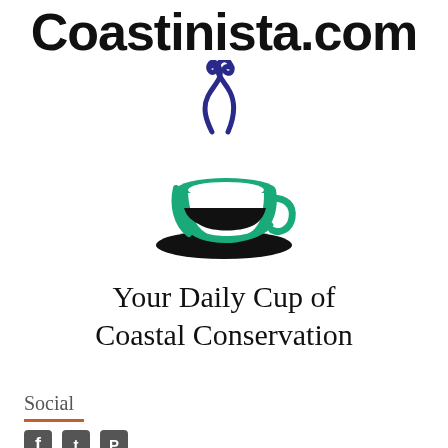Coastinista.com
[Figure (logo): Coffee cup logo with teal/green cup and saucer, dark swirling steam in navy/dark purple above the cup]
Your Daily Cup of Coastal Conservation
Social